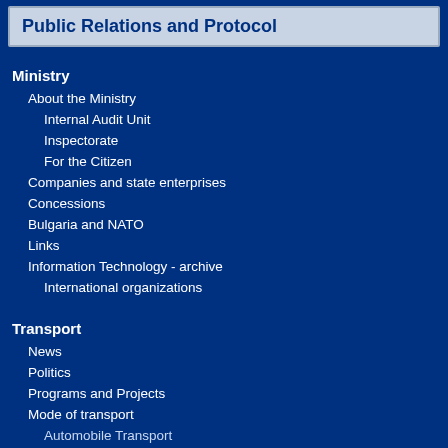Public Relations and Protocol
Ministry
About the Ministry
Internal Audit Unit
Inspectorate
For the Citizen
Companies and state enterprises
Concessions
Bulgaria and NATO
Links
Information Technology - archive
International organizations
Transport
News
Politics
Programs and Projects
Mode of transport
Automobile Transport